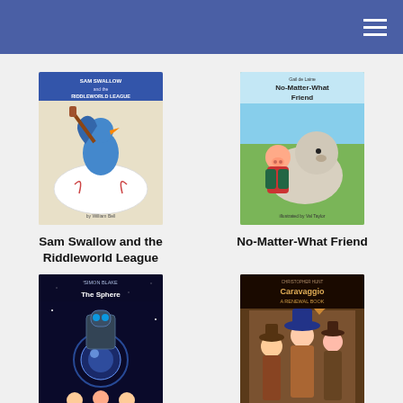[Figure (illustration): Book cover: Sam Swallow and the Riddleworld League - cartoon blue bird with baseball bat on a baseball]
Sam Swallow and the Riddleworld League
[Figure (illustration): Book cover: No-Matter-What Friend - illustrated pig and large dog sitting together outdoors]
No-Matter-What Friend
[Figure (illustration): Book cover: The Sphere of Septimus - dark illustrated cover with robot/mechanical figure and glowing sphere]
The Sphere of Septimus
[Figure (illustration): Book cover: Caravaggio: Signed in Blood - illustrated historical figures in period costume]
Caravaggio: Signed in Blood